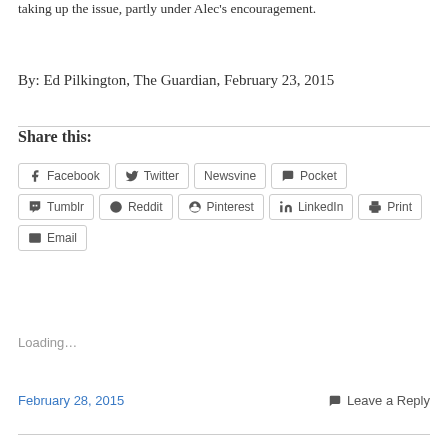taking up the issue, partly under Alec's encouragement.
By: Ed Pilkington, The Guardian, February 23, 2015
Share this:
Facebook
Twitter
Newsvine
Pocket
Tumblr
Reddit
Pinterest
LinkedIn
Print
Email
Loading...
February 28, 2015
Leave a Reply